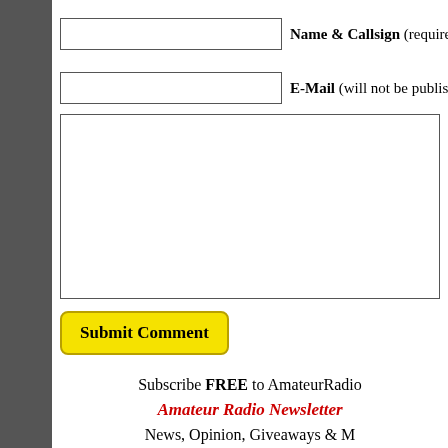Name & Callsign (required)
E-Mail (will not be published) (required)
Submit Comment
Subscribe FREE to AmateurRadio...
Amateur Radio Newsletter
News, Opinion, Giveaways & More